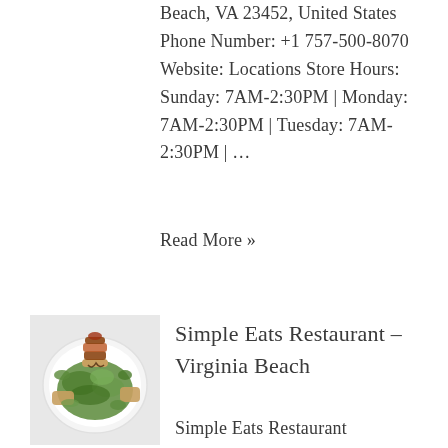Beach, VA 23452, United States Phone Number: +1 757-500-8070 Website: Locations Store Hours: Sunday: 7AM-2:30PM | Monday: 7AM-2:30PM | Tuesday: 7AM-2:30PM | ...
Read More »
[Figure (photo): Photo of a food dish with greens and garnishes on a white plate, on a green background]
Simple Eats Restaurant – Virginia Beach
Simple Eats Restaurant